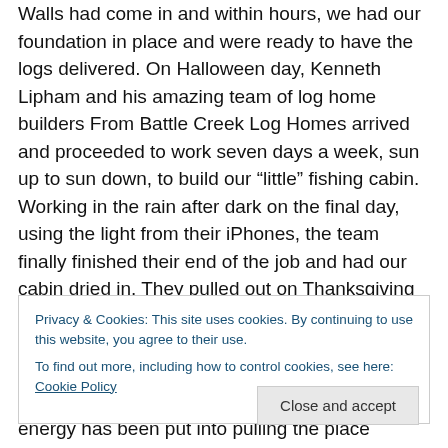Walls had come in and within hours, we had our foundation in place and were ready to have the logs delivered. On Halloween day, Kenneth Lipham and his amazing team of log home builders From Battle Creek Log Homes arrived and proceeded to work seven days a week, sun up to sun down, to build our “little” fishing cabin. Working in the rain after dark on the final day, using the light from their iPhones, the team finally finished their end of the job and had our cabin dried in. They pulled out on Thanksgiving day. Those were exciting times and Dave and I were lucky enough to be down there almost every
Privacy & Cookies: This site uses cookies. By continuing to use this website, you agree to their use. To find out more, including how to control cookies, see here: Cookie Policy
Close and accept
energy has been put into pulling the place together to